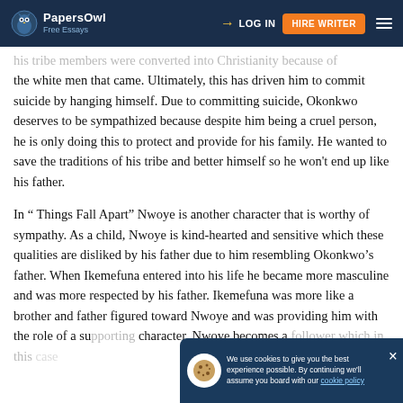PapersOwl Free Essays | LOG IN | HIRE WRITER
his tribe members were converted into Christianity because of the white men that came. Ultimately, this has driven him to commit suicide by hanging himself. Due to committing suicide, Okonkwo deserves to be sympathized because despite him being a cruel person, he is only doing this to protect and provide for his family. He wanted to save the traditions of his tribe and better himself so he won’t end up like his father.
In “ Things Fall Apart” Nwoye is another character that is worthy of sympathy. As a child, Nwoye is kind-hearted and sensitive which these qualities are disliked by his father due to him resembling Okonkwo’s father. When Ikemefuna entered into his life he became more masculine and was more respected by his father. Ikemefuna was more like a brother and father figured toward Nwoye and was providing him with the role of a supporting character. Nwoye becomes a follower which in this case